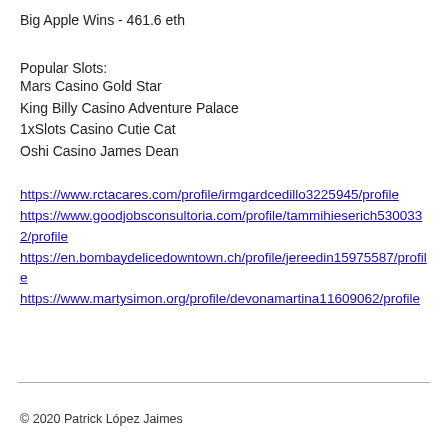Big Apple Wins - 461.6 eth
Popular Slots:
Mars Casino Gold Star
King Billy Casino Adventure Palace
1xSlots Casino Cutie Cat
Oshi Casino James Dean
https://www.rctacares.com/profile/irmgardcedillo3225945/profile
https://www.goodjobsconsultoria.com/profile/tammihieserich5300332/profile
https://en.bombaydelicedowntown.ch/profile/jereedin15975587/profile
https://www.martysimon.org/profile/devonamartina11609062/profile
© 2020 Patrick López Jaimes